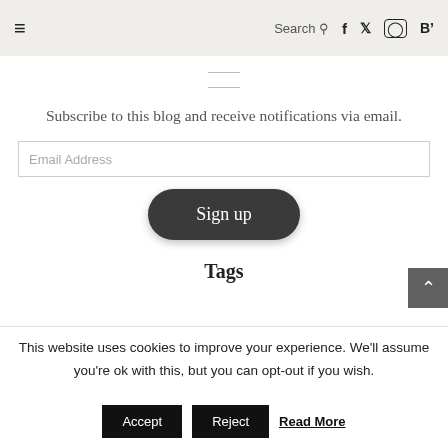≡  Search 🔍  f  𝕏  ⬜  B'
Subscribe to this blog and receive notifications via email.
[Figure (screenshot): Email Address input field and Sign up button]
Tags
This website uses cookies to improve your experience. We'll assume you're ok with this, but you can opt-out if you wish.
Accept  Reject  Read More